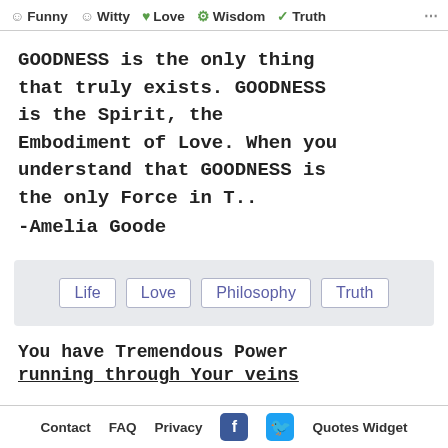☺ Funny  ☺ Witty  ♥ Love  ⚙ Wisdom  ✓ Truth  ⋯
GOODNESS is the only thing that truly exists. GOODNESS is the Spirit, the Embodiment of Love. When you understand that GOODNESS is the only Force in T.. -Amelia Goode
Life
Love
Philosophy
Truth
You have Tremendous Power running through Your veins
Contact  FAQ  Privacy  f  Twitter  Quotes Widget